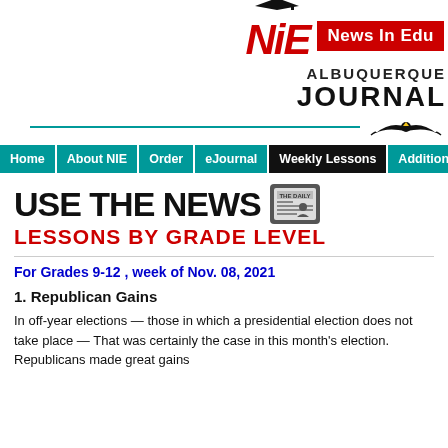[Figure (logo): NIE News In Education logo with red NIE letters and graduation cap, next to red box saying 'News In Edu...' and Albuquerque Journal masthead with eagle]
[Figure (infographic): Navigation bar with Home, About NIE, Order, eJournal, Weekly Lessons (active/dark), Additional... tabs in teal/black]
USE THE NEWS
LESSONS BY GRADE LEVEL
For Grades 9-12 , week of Nov. 08, 2021
1. Republican Gains
In off-year elections — those in which a presidential election does not take place — That was certainly the case in this month's election. Republicans made great gains